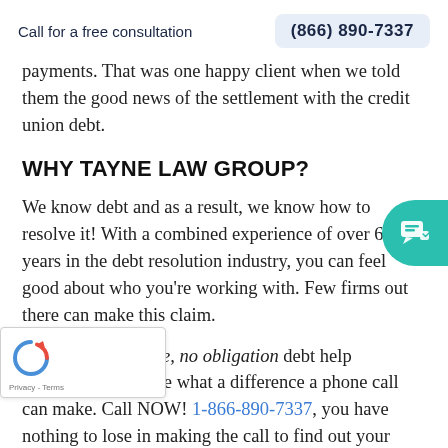Call for a free consultation   (866) 890-7337
payments. That was one happy client when we told them the good news of the settlement with the credit union debt.
WHY TAYNE LAW GROUP?
We know debt and as a result, we know how to resolve it! With a combined experience of over 60 years in the debt resolution industry, you can feel good about who you're working with. Few firms out there can make this claim.
Call today for a free, no obligation debt help consultation and see what a difference a phone call can make. Call NOW! 1-866-890-7337, you have nothing to lose in making the call to find out your rights.